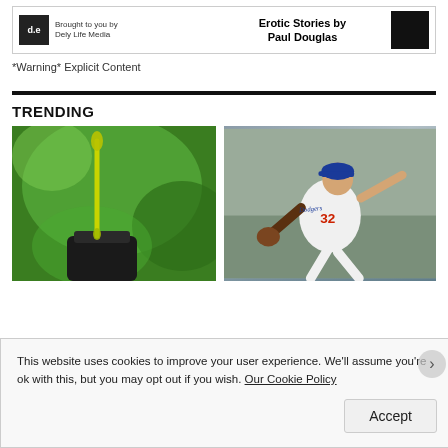[Figure (other): Ad banner: logo box with 'd.e' text, 'Brought to you by Dely Life Media' text, book title 'Erotic Stories by Paul Douglas', black book cover image]
*Warning* Explicit Content
TRENDING
[Figure (photo): Close-up photo of a green dropper/pipette over a dark glass jar, with blurred green foliage background]
[Figure (photo): Photo of a baseball pitcher wearing number 32 Dodgers uniform mid-throw]
This website uses cookies to improve your user experience. We'll assume you're ok with this, but you may opt out if you wish. Our Cookie Policy